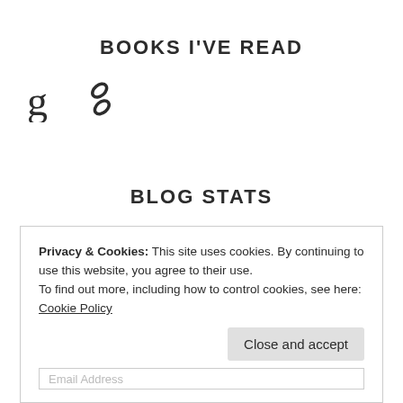BOOKS I'VE READ
[Figure (logo): Goodreads 'g' logo icon and chain link/share icon]
BLOG STATS
1,131,556 hits
Privacy & Cookies: This site uses cookies. By continuing to use this website, you agree to their use.
To find out more, including how to control cookies, see here: Cookie Policy
Close and accept